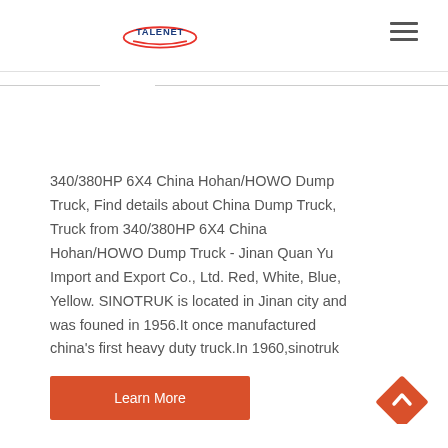TALENET
340/380HP 6X4 China Hohan/HOWO Dump Truck, Find details about China Dump Truck, Truck from 340/380HP 6X4 China Hohan/HOWO Dump Truck - Jinan Quan Yu Import and Export Co., Ltd. Red, White, Blue, Yellow. SINOTRUK is located in Jinan city and was founed in 1956.It once manufactured china's first heavy duty truck.In 1960,sinotruk
Learn More